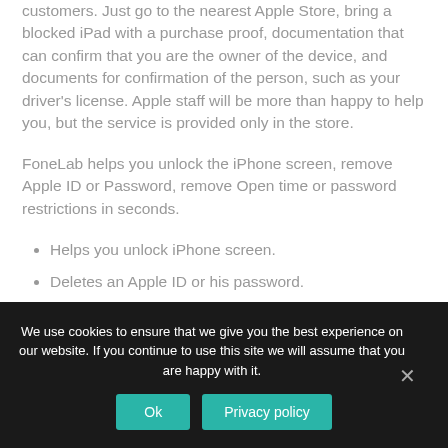customers. Just go to the nearest Apple Store, bring a blocked iPad with a purchase proof, documentation that can confirm that you are the owner of the device, and documents for confirmation of the person, such as your driver's license. Apple staff will be more than happy to help you, but the service is provided only in the store.
FoneLab helps you unlock the iPhone screen, remove Apple ID or Password, remove Open time or password restrictions in seconds.
Helps you unlock iPhone screen.
Deletes an Apple ID or his password.
Remove the on-screen time or password restrictions in
We use cookies to ensure that we give you the best experience on our website. If you continue to use this site we will assume that you are happy with it.